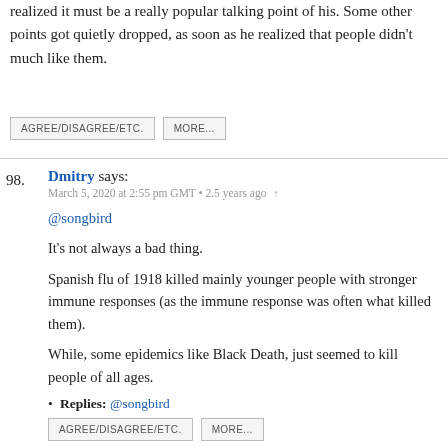realized it must be a really popular talking point of his. Some other points got quietly dropped, as soon as he realized that people didn't much like them.
AGREE/DISAGREE/ETC.    MORE...
98. Dmitry says:
March 5, 2020 at 2:55 pm GMT • 2.5 years ago ↑
@songbird

It's not always a bad thing.

Spanish flu of 1918 killed mainly younger people with stronger immune responses (as the immune response was often what killed them).

While, some epidemics like Black Death, just seemed to kill people of all ages.

• Replies: @songbird
AGREE/DISAGREE/ETC.    MORE...